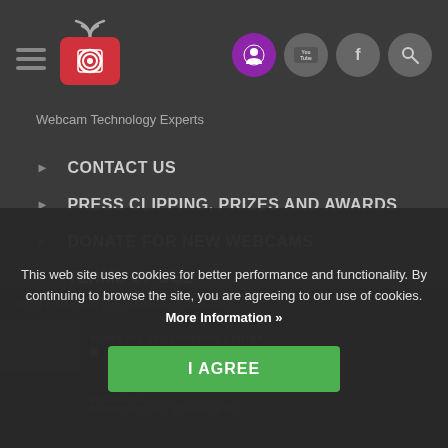[Figure (screenshot): Top navigation bar with hamburger menu, webcam logo with wifi icon, and circular social/action icons (purple user, YouTube, Facebook, search)]
Webcam Technology Experts
CONTACT US
PRESS CLIPPING, PRIZES AND AWARDS
DONATE FOR NEW WEBCAMS
TERMS OF USE
PRIVACY POLICY
BANNERS
MOST RECENTLY ADDED CAMERAS
[Figure (screenshot): Camera thumbnail row: ĐURĐEVAC VTC SHOPPING CENTER, LIVE, 0 viewers]
[Figure (screenshot): Camera thumbnail row: ĐURĐEVAC, ĐURĐEVAC GAS STATION KTC]
This web site uses cookies for better performance and functionality. By continuing to browse the site, you are agreeing to our use of cookies. More Information »
I AGREE